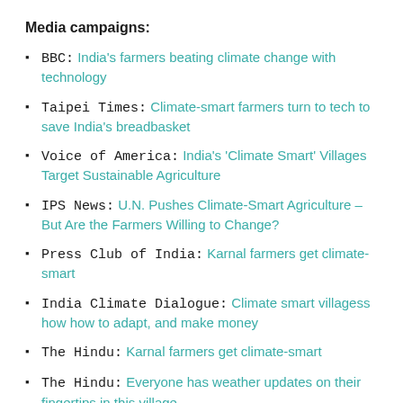Media campaigns:
BBC: India's farmers beating climate change with technology
Taipei Times: Climate-smart farmers turn to tech to save India's breadbasket
Voice of America: India's 'Climate Smart' Villages Target Sustainable Agriculture
IPS News: U.N. Pushes Climate-Smart Agriculture – But Are the Farmers Willing to Change?
Press Club of India: Karnal farmers get climate-smart
India Climate Dialogue: Climate smart villagess how how to adapt, and make money
The Hindu: Karnal farmers get climate-smart
The Hindu: Everyone has weather updates on their fingertips in this village
Training events: